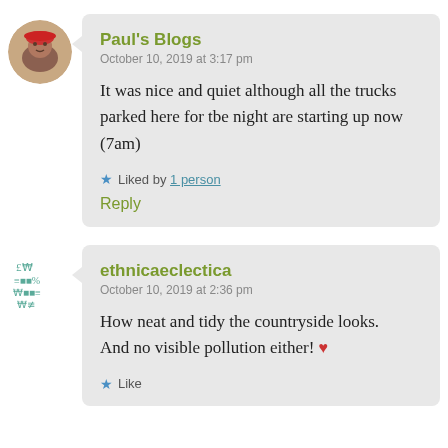[Figure (photo): Circular avatar photo of a person wearing a red hat]
Paul's Blogs
October 10, 2019 at 3:17 pm

It was nice and quiet although all the trucks parked here for tbe night are starting up now (7am)

★ Liked by 1 person

Reply
[Figure (logo): Decorative logo/avatar for ethnicaeclectica with teal colored decorative symbol]
ethnicaeclectica
October 10, 2019 at 2:36 pm

How neat and tidy the countryside looks.
And no visible pollution either! ❤

★ Like